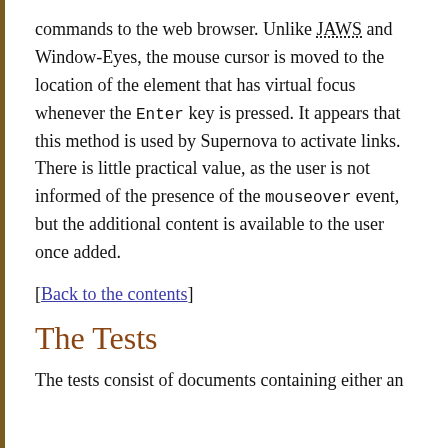commands to the web browser. Unlike JAWS and Window-Eyes, the mouse cursor is moved to the location of the element that has virtual focus whenever the Enter key is pressed. It appears that this method is used by Supernova to activate links. There is little practical value, as the user is not informed of the presence of the mouseover event, but the additional content is available to the user once added.
[Back to the contents]
The Tests
The tests consist of documents containing either an